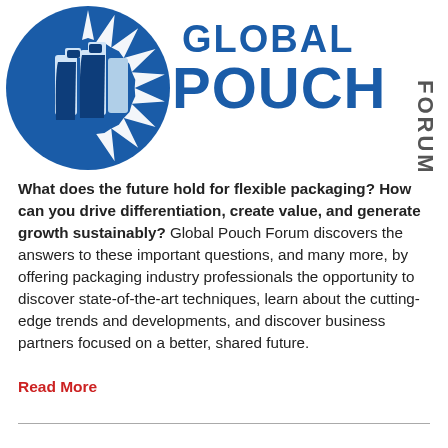[Figure (logo): Global Pouch Forum logo with blue circular emblem on left and 'GLOBAL POUCH FORUM' text in blue/dark colors on right]
What does the future hold for flexible packaging? How can you drive differentiation, create value, and generate growth sustainably? Global Pouch Forum discovers the answers to these important questions, and many more, by offering packaging industry professionals the opportunity to discover state-of-the-art techniques, learn about the cutting-edge trends and developments, and discover business partners focused on a better, shared future.
Read More
GPMC Sustainable Packaging Packaging...